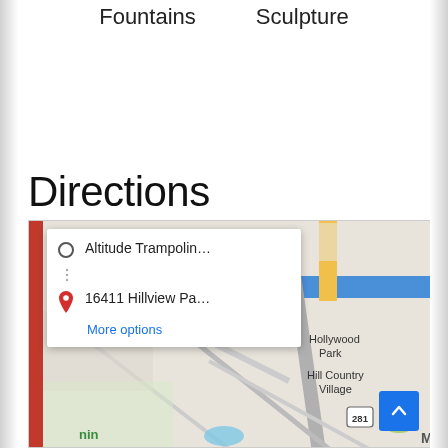Fountains    Sculpture
Directions
[Figure (map): Google Maps screenshot showing directions popup with 'Altitude Trampolin...' as origin and '16411 Hillview Pa...' as destination, with 'More options' link. Map shows Far North Central area with Hollywood Park, Hill Country Village, and highway 281 visible.]